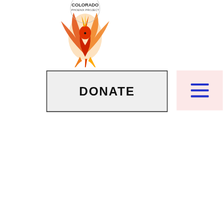[Figure (logo): Colorado Phoenix Project logo — phoenix bird in orange/red/yellow flames with text 'COLORADO PHOENIX PROJECT']
[Figure (screenshot): DONATE button with dark border on light gray background]
[Figure (screenshot): Hamburger menu icon (three blue horizontal lines) on light pink background]
FREE Introduction Session
First Name
[Figure (screenshot): Black footer bar with white Facebook, Instagram, and YouTube icons]